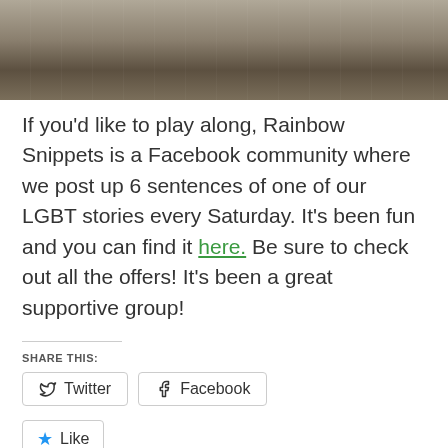[Figure (photo): Top portion of a photo showing a weathered stone or wood surface with carved or etched markings, earthy tones of grey, brown, and tan.]
If you'd like to play along, Rainbow Snippets is a Facebook community where we post up 6 sentences of one of our LGBT stories every Saturday. It's been fun and you can find it here. Be sure to check out all the offers! It's been a great supportive group!
SHARE THIS:
Twitter  Facebook
Like
Be the first to like this.
RELATED:
Rainbow Snippets  Rainbow Snippets